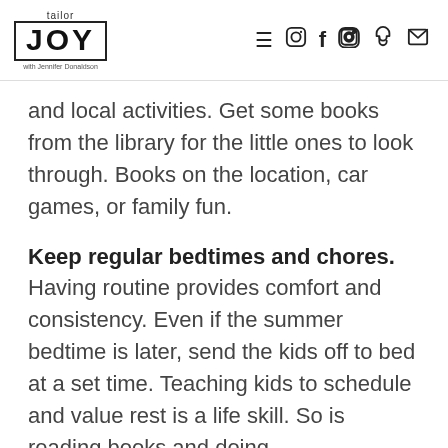tailor JOY with Jennifer Donaldson — navigation icons: menu, instagram, facebook, pinterest, mail
and local activities. Get some books from the library for the little ones to look through. Books on the location, car games, or family fun.
Keep regular bedtimes and chores.
Having routine provides comfort and consistency. Even if the summer bedtime is later, send the kids off to bed at a set time. Teaching kids to schedule and value rest is a life skill. So is reading books and doing